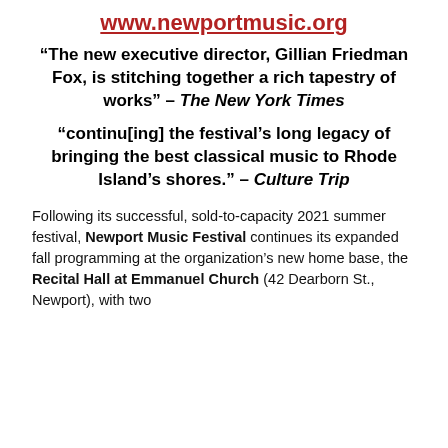www.newportmusic.org
“The new executive director, Gillian Friedman Fox, is stitching together a rich tapestry of works” – The New York Times
“continu[ing] the festival’s long legacy of bringing the best classical music to Rhode Island’s shores.” – Culture Trip
Following its successful, sold-to-capacity 2021 summer festival, Newport Music Festival continues its expanded fall programming at the organization’s new home base, the Recital Hall at Emmanuel Church (42 Dearborn St., Newport), with two